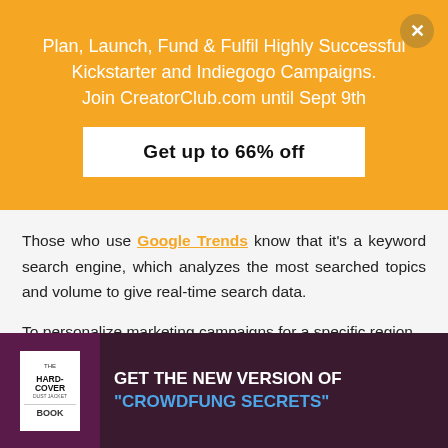Plan, Launch, Fund & Fulfil Highly Successful Kickstarter and Indiegogo Campaigns. Join CreatorClub.com until Sept 9th
Get up to 66% off
Those who use Google Trends know that it's a keyword search engine, which analyzes the most searched topics and volume to give real-time search data.
To personalize marketing campaigns for a specific region – Google Trends is the no-brainer tool.
GET THE NEW VERSION OF "CROWDFUNG SECRETS"